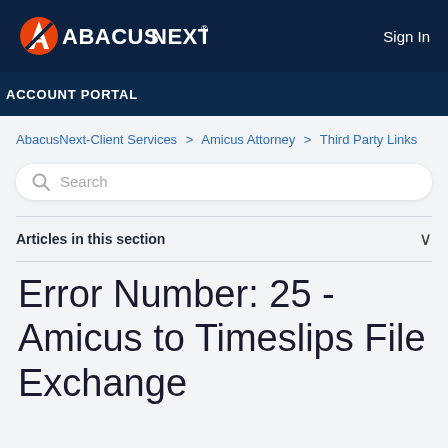AbacusNext | Sign In
ACCOUNT PORTAL
AbacusNext-Client Services > Amicus Attorney > Third Party Links
Search
Articles in this section
Error Number: 25 - Amicus to Timeslips File Exchange